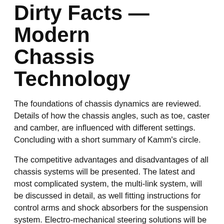Dirty Facts — Modern Chassis Technology
The foundations of chassis dynamics are reviewed. Details of how the chassis angles, such as toe, caster and camber, are influenced with different settings. Concluding with a short summary of Kamm's circle.
The competitive advantages and disadvantages of all chassis systems will be presented. The latest and most complicated system, the multi-link system, will be discussed in detail, as well fitting instructions for control arms and shock absorbers for the suspension system. Electro-mechanical steering solutions will be summarized. The main focus is on the most popular electro-mechanical steering racks, namely axial parallel actuation (APA) and dual pinon type (DP). Explanations about the functions, diagnostics and the sensors will be covered. The initialization and activation procedure will be discussed. Dynamic steering systems have an impact